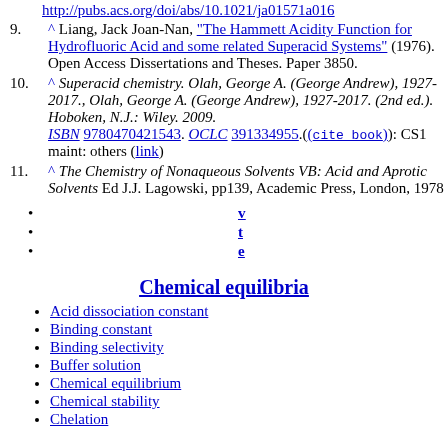http://pubs.acs.org/doi/abs/10.1021/ja01571a016
9. ^ Liang, Jack Joan-Nan, "The Hammett Acidity Function for Hydrofluoric Acid and some related Superacid Systems" (1976). Open Access Dissertations and Theses. Paper 3850.
10. ^ Superacid chemistry. Olah, George A. (George Andrew), 1927-2017., Olah, George A. (George Andrew), 1927-2017. (2nd ed.). Hoboken, N.J.: Wiley. 2009. ISBN 9780470421543. OCLC 391334955.((cite book)): CS1 maint: others (link)
11. ^ The Chemistry of Nonaqueous Solvents VB: Acid and Aprotic Solvents Ed J.J. Lagowski, pp139, Academic Press, London, 1978
v
t
e
Chemical equilibria
Acid dissociation constant
Binding constant
Binding selectivity
Buffer solution
Chemical equilibrium
Chemical stability
Chelation